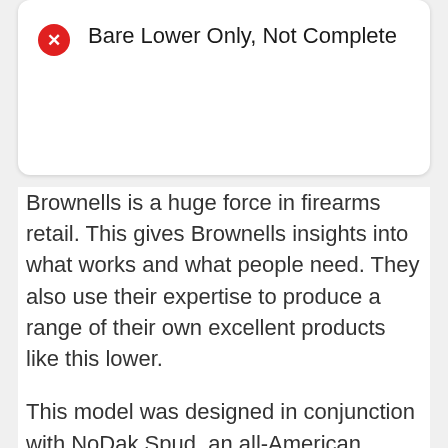Bare Lower Only, Not Complete
Brownells is a huge force in firearms retail. This gives Brownells insights into what works and what people need. They also use their expertise to produce a range of their own excellent products like this lower.
This model was designed in conjunction with NoDak Spud, an all-American firearms designer. Together, they have crafted the lines of the lower to match those of the original Armalite M16A1.
This lends any build a retro-styled look. Specifically, the front takedown lug profile and